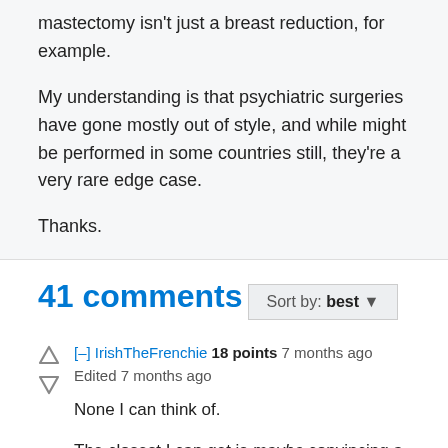mastectomy isn't just a breast reduction, for example.
My understanding is that psychiatric surgeries have gone mostly out of style, and while might be performed in some countries still, they're a very rare edge case.
Thanks.
41 comments
Sort by: best ▼
[–] IrishTheFrenchie 18 points 7 months ago Edited 7 months ago
None I can think of.
The closest I can get is maybe convincing a doctor to do a biopsy based on a patient listing symptoms that can otherwise not be corroborated.
But even then I think they'd do ultrasounds and CT